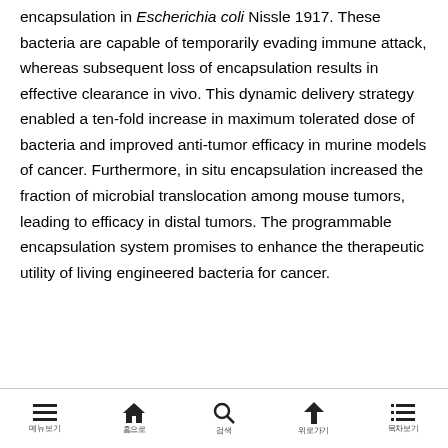encapsulation in Escherichia coli Nissle 1917. These bacteria are capable of temporarily evading immune attack, whereas subsequent loss of encapsulation results in effective clearance in vivo. This dynamic delivery strategy enabled a ten-fold increase in maximum tolerated dose of bacteria and improved anti-tumor efficacy in murine models of cancer. Furthermore, in situ encapsulation increased the fraction of microbial translocation among mouse tumors, leading to efficacy in distal tumors. The programmable encapsulation system promises to enhance the therapeutic utility of living engineered bacteria for cancer.
Menu | Home | Search | Up | Text menu